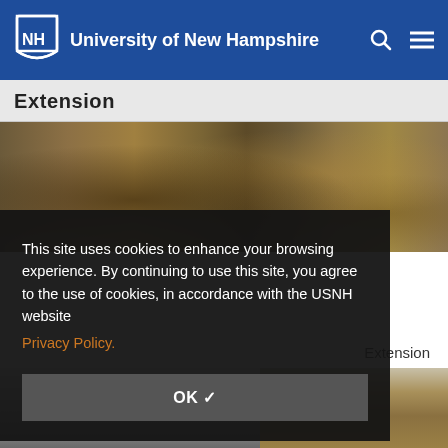University of New Hampshire
Extension
[Figure (photo): Close-up photograph of soil or forest floor surface with organic debris]
This site uses cookies to enhance your browsing experience. By continuing to use this site, you agree to the use of cookies, in accordance with the USNH website Privacy Policy.
OK ✓